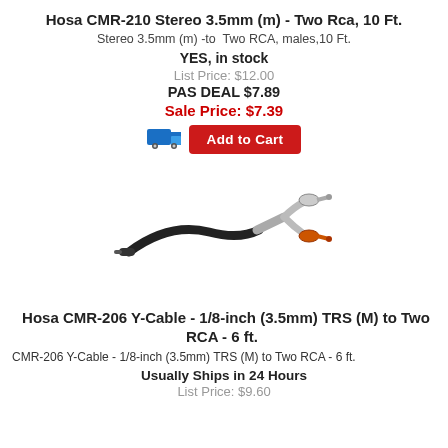Hosa CMR-210 Stereo 3.5mm (m) - Two Rca, 10 Ft.
Stereo 3.5mm (m) -to  Two RCA, males,10 Ft.
YES, in stock
List Price: $12.00
PAS DEAL $7.89
Sale Price: $7.39
[Figure (other): Add to Cart button with truck icon]
[Figure (photo): Photo of Hosa CMR-210 stereo cable with 3.5mm plug on one end and two RCA connectors (one orange, one silver) on the other end]
Hosa CMR-206 Y-Cable - 1/8-inch (3.5mm) TRS (M) to Two RCA - 6 ft.
CMR-206 Y-Cable - 1/8-inch (3.5mm) TRS (M) to Two RCA - 6 ft.
Usually Ships in 24 Hours
List Price: $9.60